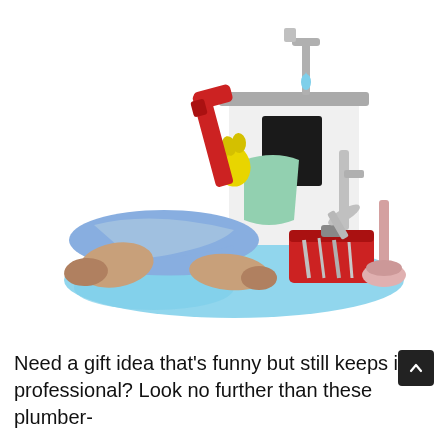[Figure (illustration): A colorful toy/figurine illustration of a plumber lying on his back under a kitchen sink, wearing blue overalls and brown boots, holding a red pipe wrench with a yellow-gloved hand. A red toolbox with silver tools sits nearby, and a pink plunger stands to the right. A blue puddle of water spreads beneath. The sink has a dripping silver faucet.]
Need a gift idea that's funny but still keeps it professional? Look no further than these plumber-